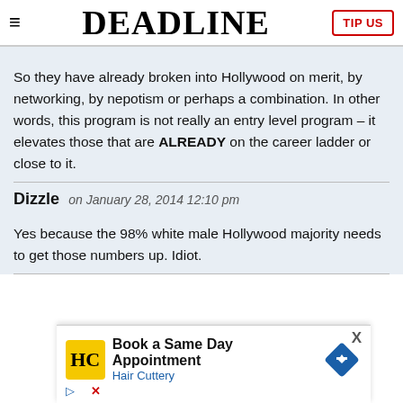DEADLINE | TIP US
So they have already broken into Hollywood on merit, by networking, by nepotism or perhaps a combination. In other words, this program is not really an entry level program – it elevates those that are ALREADY on the career ladder or close to it.
Dizzle on January 28, 2014 12:10 pm
Yes because the 98% white male Hollywood majority needs to get those numbers up. Idiot.
[Figure (screenshot): Advertisement for Hair Cuttery: Book a Same Day Appointment]